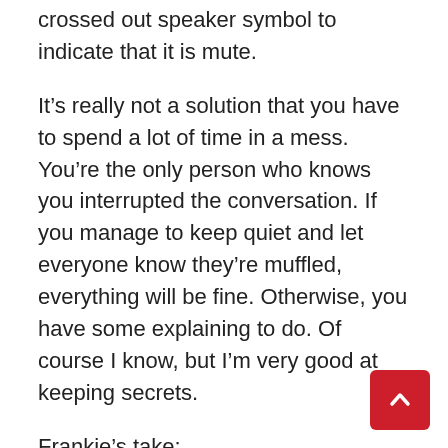crossed out speaker symbol to indicate that it is mute.
It’s really not a solution that you have to spend a lot of time in a mess. You’re the only person who knows you interrupted the conversation. If you manage to keep quiet and let everyone know they’re muffled, everything will be fine. Otherwise, you have some explaining to do. Of course I know, but I’m very good at keeping secrets.
Frankie’s take:
When you meet your contact, increase your phone’s privacy with applications like WhatsApp. In some situations, this feature may not be sufficient to meet your needs. Most take